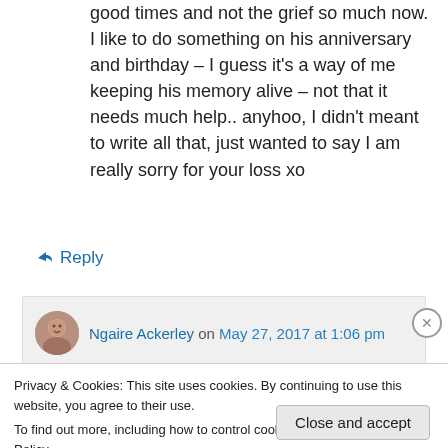good times and not the grief so much now. I like to do something on his anniversary and birthday – I guess it's a way of me keeping his memory alive – not that it needs much help.. anyhoo, I didn't meant to write all that, just wanted to say I am really sorry for your loss xo
↳ Reply
Ngaire Ackerley on May 27, 2017 at 1:06 pm
Privacy & Cookies: This site uses cookies. By continuing to use this website, you agree to their use.
To find out more, including how to control cookies, see here: Cookie Policy
Close and accept